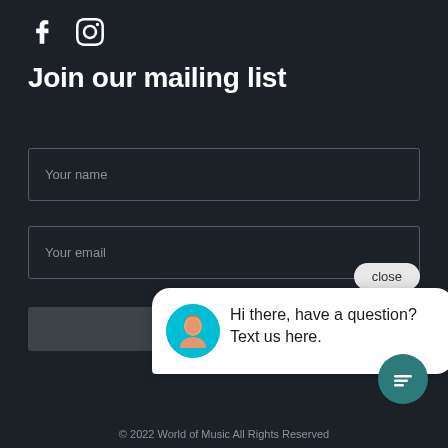[Figure (logo): Facebook and Instagram social media icons in white]
Join our mailing list
Your name
Your email
close
[Figure (screenshot): Chat widget popup with avatar photo of a woman and text: Hi there, have a question? Text us here.]
[Figure (illustration): Teal circular chat icon button with message lines icon]
© 2022 World of Music All Rights Reserved